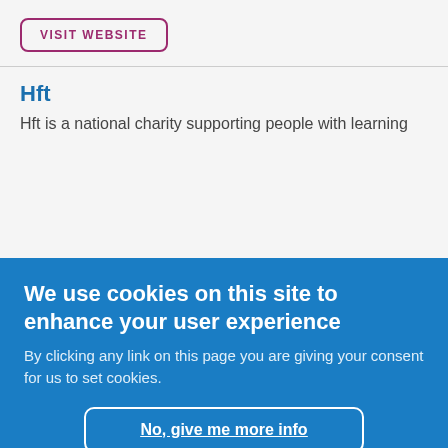VISIT WEBSITE
Hft
Hft is a national charity supporting people with learning
We use cookies on this site to enhance your user experience
By clicking any link on this page you are giving your consent for us to set cookies.
No, give me more info
OK, I agree